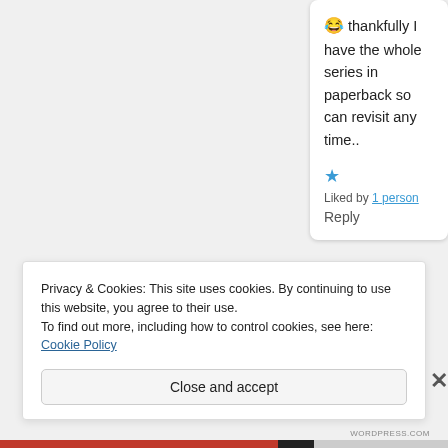😂 thankfully I have the whole series in paperback so can revisit any time..
★ Liked by 1 person Reply
Privacy & Cookies: This site uses cookies. By continuing to use this website, you agree to their use.
To find out more, including how to control cookies, see here: Cookie Policy
Close and accept